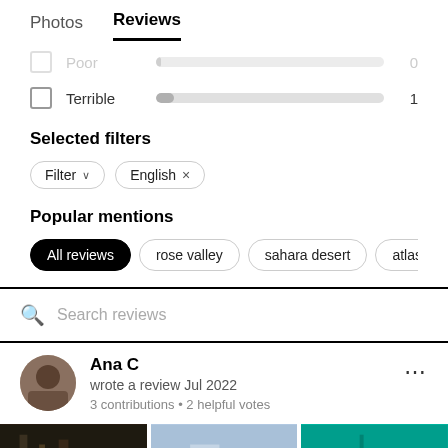Photos   Reviews
Poor   0
Terrible   1
Selected filters
Filter ∨   English ×
Popular mentions
All reviews   rose valley   sahara desert   atlas mountains   day
Search reviews
Ana C
wrote a review Jul 2022
3 contributions • 2 helpful votes
[Figure (photo): Three review photos in a row: a dark night-time garden scene, a blue sky outdoor scene, and a teal/green background.]